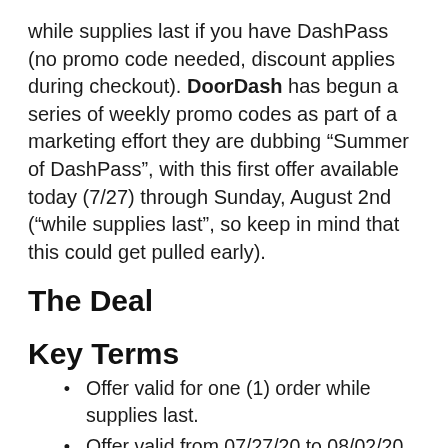while supplies last if you have DashPass (no promo code needed, discount applies during checkout). DoorDash has begun a series of weekly promo codes as part of a marketing effort they are dubbing “Summer of DashPass”, with this first offer available today (7/27) through Sunday, August 2nd (“while supplies last”, so keep in mind that this could get pulled early).
The Deal
Key Terms
Offer valid for one (1) order while supplies last.
Offer valid from 07/27/20 to 08/02/20